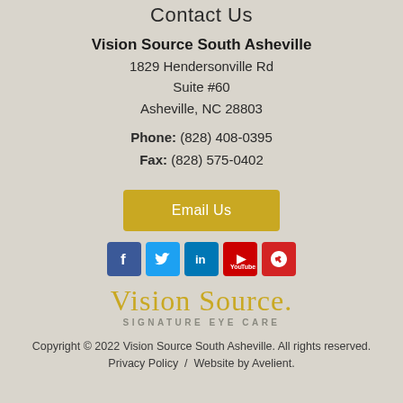Contact Us
Vision Source South Asheville
1829 Hendersonville Rd
Suite #60
Asheville, NC 28803
Phone: (828) 408-0395
Fax: (828) 575-0402
Email Us
[Figure (infographic): Social media icons: Facebook, Twitter, LinkedIn, YouTube, Yelp]
[Figure (logo): Vision Source Signature Eye Care logo with script text and tagline]
Copyright © 2022 Vision Source South Asheville. All rights reserved.
Privacy Policy  /  Website by Avelient.